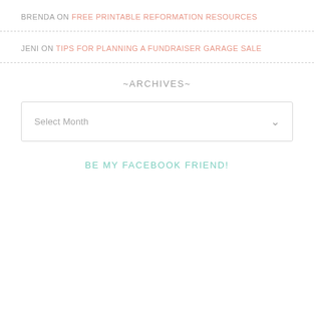BRENDA ON FREE PRINTABLE REFORMATION RESOURCES
JENI ON TIPS FOR PLANNING A FUNDRAISER GARAGE SALE
~ARCHIVES~
Select Month
BE MY FACEBOOK FRIEND!